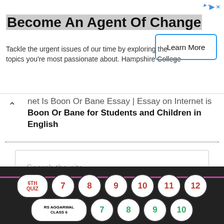[Figure (screenshot): Advertisement banner for Hampshire College with 'Become An Agent Of Change' headline and 'Learn More' button]
Internet Is Boon Or Bane Essay | Essay on Internet is Boon Or Bane for Students and Children in English
Search the site ...
[Figure (screenshot): Dark footer navigation with numbered circle buttons: 6TH QUIZ, 7, 8, 9, 10, 11, 12 in red, and RS AGGARWAL CLASS 6 pill with 7, 8, 9, 10 in green]